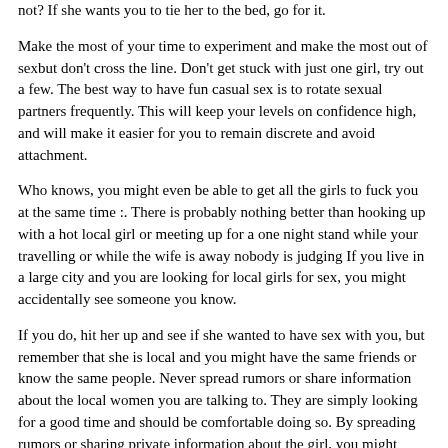not? If she wants you to tie her to the bed, go for it.
Make the most of your time to experiment and make the most out of sexbut don't cross the line. Don't get stuck with just one girl, try out a few. The best way to have fun casual sex is to rotate sexual partners frequently. This will keep your levels on confidence high, and will make it easier for you to remain discrete and avoid attachment.
Who knows, you might even be able to get all the girls to fuck you at the same time :. There is probably nothing better than hooking up with a hot local girl or meeting up for a one night stand while your travelling or while the wife is away nobody is judging If you live in a large city and you are looking for local girls for sex, you might accidentally see someone you know.
If you do, hit her up and see if she wanted to have sex with you, but remember that she is local and you might have the same friends or know the same people. Never spread rumors or share information about the local women you are talking to. They are simply looking for a good time and should be comfortable doing so. By spreading rumors or sharing private information about the girl, you might scare her into deleting her profile. Always respect the girls that are online looking for local hookups, just as you would want them to respect you. Chances are, that if you are trying to meet local women for hookups, dates, casual sex, or any